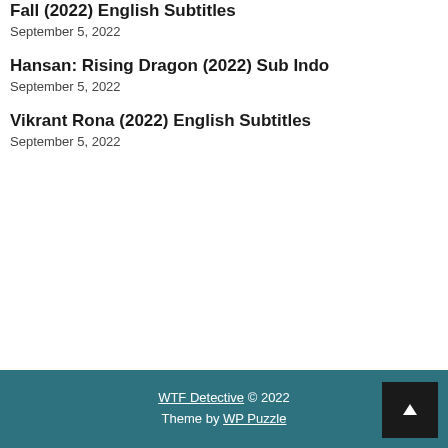Fall (2022) English Subtitles
September 5, 2022
Hansan: Rising Dragon (2022) Sub Indo
September 5, 2022
Vikrant Rona (2022) English Subtitles
September 5, 2022
WTF Detective © 2022
Theme by WP Puzzle